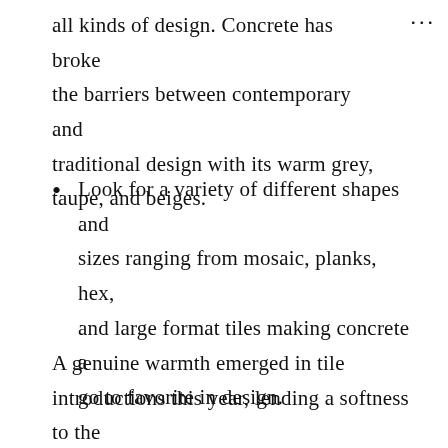all kinds of design. Concrete has broken the barriers between contemporary and traditional design with its warm grey, taupe, and beiges.
Look for a variety of different shapes and sizes ranging from mosaic, planks, hex, and large format tiles making concrete a go to favorite in design.
A genuine warmth emerged in tile introductions this year, lending a softness to the hard, cool surface. Designs with distressed and